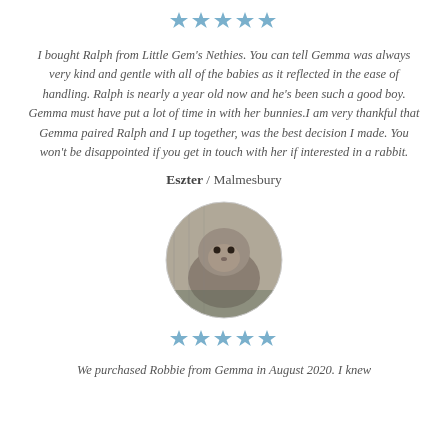[Figure (other): Five blue star rating icons]
I bought Ralph from Little Gem's Nethies. You can tell Gemma was always very kind and gentle with all of the babies as it reflected in the ease of handling. Ralph is nearly a year old now and he's been such a good boy. Gemma must have put a lot of time in with her bunnies.I am very thankful that Gemma paired Ralph and I up together, was the best decision I made. You won't be disappointed if you get in touch with her if interested in a rabbit.
Eszter / Malmesbury
[Figure (photo): Circular photo of a grey rabbit sitting in a cage]
[Figure (other): Five blue star rating icons]
We purchased Robbie from Gemma in August 2020. I knew